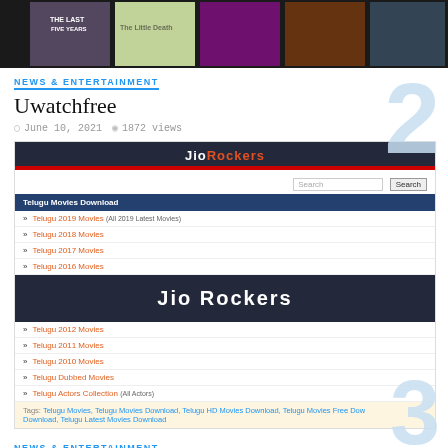[Figure (photo): Horizontal banner with movie poster thumbnails including 'The Last Five Years' and 'The Little Death']
NEWS & ENTERTAINMENT
Uwatchfree
June 10, 2021  1872 views
[Figure (screenshot): Screenshot of JioRockers website showing header with 'JioRockers' branding, search bar, navigation menu 'Telugu Movies Download', links to Telugu 2019 Movies, Telugu 2018 Movies, Telugu 2017 Movies, Telugu 2016 Movies, large 'Jio Rockers' banner, Telugu 2012 Movies, Telugu 2011 Movies, Telugu 2010 Movies, Telugu Dubbed Movies, Telugu Actors Collection, and tags section]
NEWS & ENTERTAINMENT
Jio Rockers – Unlawful HD Movies Obtain Website
October 24, 2021  1438 views